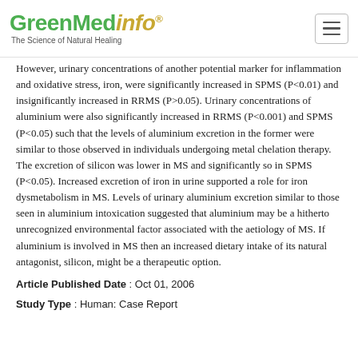GreenMedinfo — The Science of Natural Healing
However, urinary concentrations of another potential marker for inflammation and oxidative stress, iron, were significantly increased in SPMS (P<0.01) and insignificantly increased in RRMS (P>0.05). Urinary concentrations of aluminium were also significantly increased in RRMS (P<0.001) and SPMS (P<0.05) such that the levels of aluminium excretion in the former were similar to those observed in individuals undergoing metal chelation therapy. The excretion of silicon was lower in MS and significantly so in SPMS (P<0.05). Increased excretion of iron in urine supported a role for iron dysmetabolism in MS. Levels of urinary aluminium excretion similar to those seen in aluminium intoxication suggested that aluminium may be a hitherto unrecognized environmental factor associated with the aetiology of MS. If aluminium is involved in MS then an increased dietary intake of its natural antagonist, silicon, might be a therapeutic option.
Article Published Date : Oct 01, 2006
Study Type : Human: Case Report